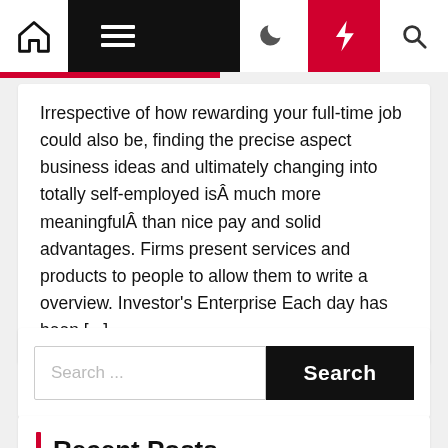Navigation bar with home icon, menu icon, moon icon, lightning icon, search icon
Irrespective of how rewarding your full-time job could also be, finding the precise aspect business ideas and ultimately changing into totally self-employed isÂ much more meaningfulÂ than nice pay and solid advantages. Firms present services and products to people to allow them to write a overview. Investor's Enterprise Each day has been [...]
Search ...
Recent Posts